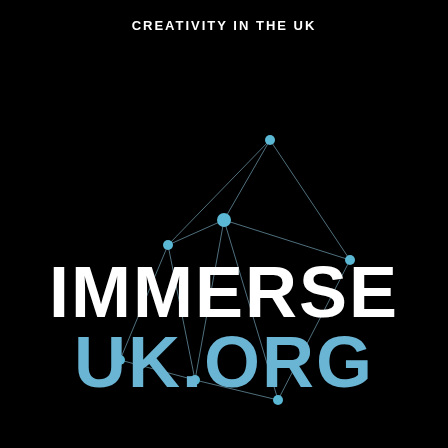CREATIVITY IN THE UK
[Figure (illustration): Abstract network/constellation graphic with cyan/light-blue nodes connected by thin lines forming a geometric shape, overlaid on a black background, with the text IMMERSE in white and UK.ORG in light blue below it]
IMMERSE
UK.ORG